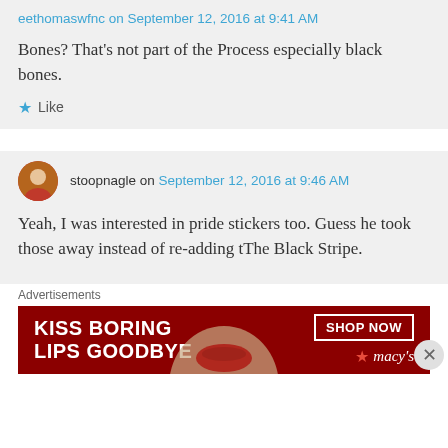eethomaswfnc on September 12, 2016 at 9:41 AM
Bones? That's not part of the Process especially black bones.
★ Like
stoopnagle on September 12, 2016 at 9:46 AM
Yeah, I was interested in pride stickers too. Guess he took those away instead of re-adding tThe Black Stripe.
Advertisements
[Figure (infographic): Macy's advertisement banner: KISS BORING LIPS GOODBYE with SHOP NOW button and Macy's star logo]